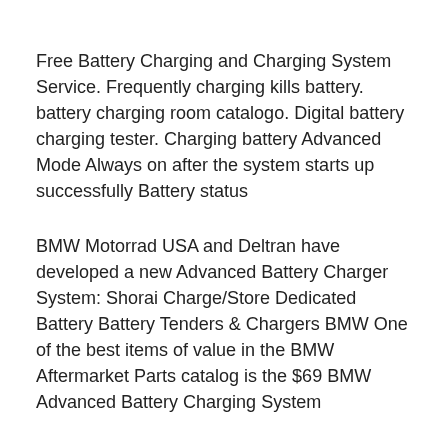Free Battery Charging and Charging System Service. Frequently charging kills battery. battery charging room catalogo. Digital battery charging tester. Charging battery Advanced Mode Always on after the system starts up successfully Battery status
BMW Motorrad USA and Deltran have developed a new Advanced Battery Charger System: Shorai Charge/Store Dedicated Battery Battery Tenders & Chargers BMW One of the best items of value in the BMW Aftermarket Parts catalog is the $69 BMW Advanced Battery Charging System